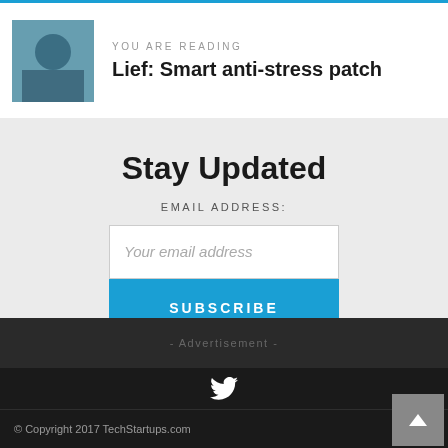YOU ARE READING
Lief: Smart anti-stress patch
Stay Updated
EMAIL ADDRESS:
Your email address
SUBSCRIBE
- Advertisement -
[Figure (logo): Twitter bird icon in white]
© Copyright 2017 TechStartups.com